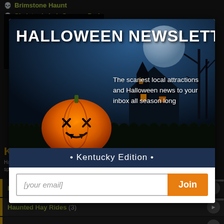Brimstone Haunt
Skeleton's Lair Scream Park
[Figure (screenshot): A Night To Remember logo/banner image in black with skull graphics]
KE[NTUCKY]
Ha[unted] spo[ts]
[Figure (screenshot): Halloween Newsletter modal popup with jack-o-lantern, haunted house, moon and cemetery background. Title reads HALLOWEEN NEWSLETTER with X close button. Text says The scariest local attractions and Halloween news to your inbox all season long. Kentucky Edition. Email signup form with Join button.]
Haunted Houses (23)
Haunted Hay Rides (3)
Zombie Hunts & Shootouts (1)